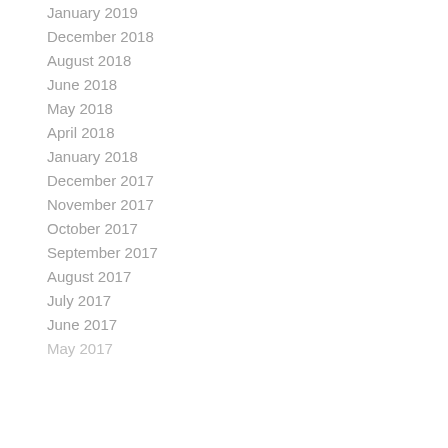January 2019
December 2018
August 2018
June 2018
May 2018
April 2018
January 2018
December 2017
November 2017
October 2017
September 2017
August 2017
July 2017
June 2017
May 2017